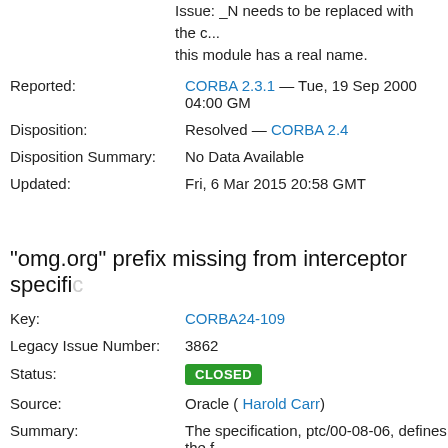Issue: _N needs to be replaced with the c... this module has a real name.
Reported: CORBA 2.3.1 — Tue, 19 Sep 2000 04:00 GM
Disposition: Resolved — CORBA 2.4
Disposition Summary: No Data Available
Updated: Fri, 6 Mar 2015 20:58 GMT
"omg.org" prefix missing from interceptor specific
Key: CORBA24-109
Legacy Issue Number: 3862
Status: CLOSED
Source: Oracle ( Harold Carr)
Summary: The specification, ptc/00-08-06, defines the
Dynamic
IOP_N
PortableInterceptor